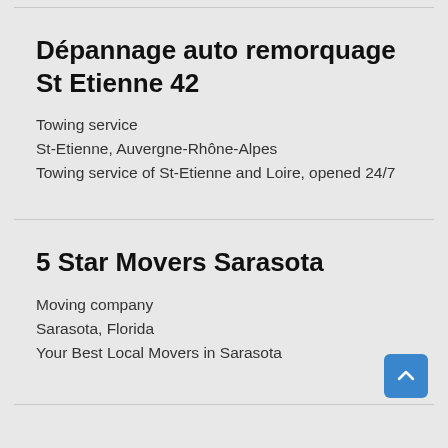Dépannage auto remorquage St Etienne 42
Towing service
St-Etienne, Auvergne-Rhône-Alpes
Towing service of St-Etienne and Loire, opened 24/7
5 Star Movers Sarasota
Moving company
Sarasota, Florida
Your Best Local Movers in Sarasota